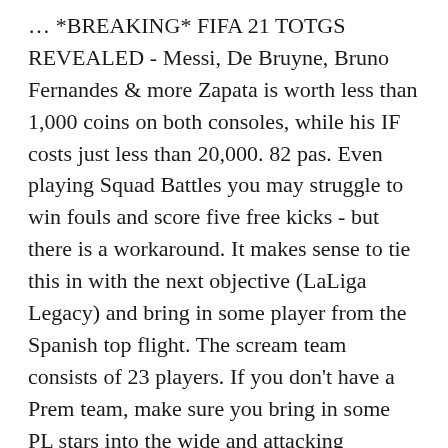… *BREAKING* FIFA 21 TOTGS REVEALED - Messi, De Bruyne, Bruno Fernandes & more Zapata is worth less than 1,000 coins on both consoles, while his IF costs just less than 20,000. 82 pas. Even playing Squad Battles you may struggle to win fouls and score five free kicks - but there is a workaround. It makes sense to tie this in with the next objective (LaLiga Legacy) and bring in some player from the Spanish top flight. The scream team consists of 23 players. If you don't have a Prem team, make sure you bring in some PL stars into the wide and attacking midfield areas of your team. FIFA 21 Road To The Final Team LEAKS Predictions, Release Date, Card Designs, SBC, Upgrade Dates, Expected Content And Everything You Need To Know,Road to the Final is arriving TODAY in FIFA 21's Ulti … with Marcus Rashford and Phillipe Coutinho… Head to Couch Play in FUT…